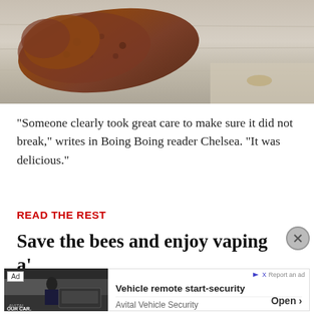[Figure (photo): Close-up photo of what appears to be a sweet potato or yam on a light wooden surface, with brownish-red skin texture visible]
"Someone clearly took great care to make sure it did not break," writes in Boing Boing reader Chelsea. "It was delicious."
READ THE REST
Save the bees and enjoy vaping at
[Figure (screenshot): Advertisement banner for Avital Vehicle Security showing Vehicle remote start-security product with an image of a car and person, with Open button]